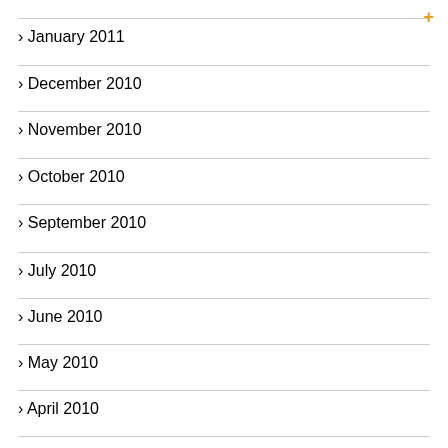January 2011
December 2010
November 2010
October 2010
September 2010
July 2010
June 2010
May 2010
April 2010